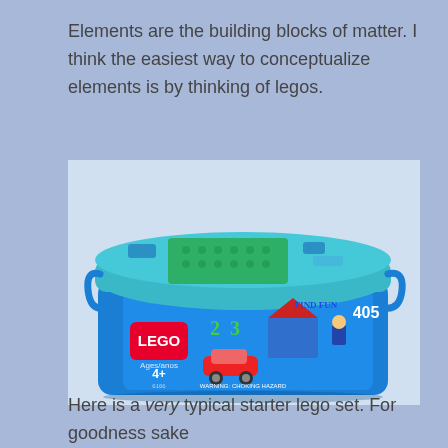Elements are the building blocks of matter. I think the easiest way to conceptualize elements is by thinking of legos.
[Figure (photo): A blue LEGO starter set box (set 6166) with a transparent lid showing lego pieces inside. The box label shows LEGO logo, age 4+, 405 pieces, and depicts a house, car, and figures.]
Here is a very typical starter lego set. For goodness sake